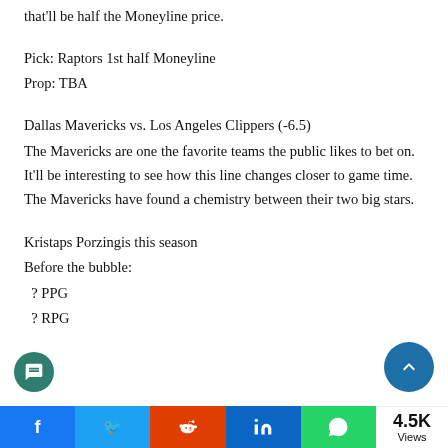that'll be half the Moneyline price.
Pick: Raptors 1st half Moneyline
Prop: TBA
Dallas Mavericks vs. Los Angeles Clippers (-6.5)
The Mavericks are one the favorite teams the public likes to bet on. It'll be interesting to see how this line changes closer to game time. The Mavericks have found a chemistry between their two big stars.
Kristaps Porzingis this season
Before the bubble:
? PPG
? RPG
4.5K Views